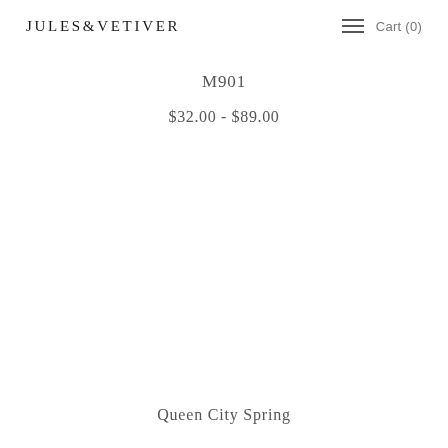Jules & Vetiver   Cart (0)
M901
$32.00 - $89.00
Queen City Spring